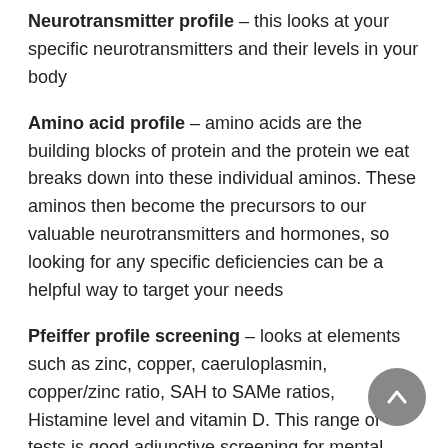Neurotransmitter profile – this looks at your specific neurotransmitters and their levels in your body
Amino acid profile – amino acids are the building blocks of protein and the protein we eat breaks down into these individual aminos. These aminos then become the precursors to our valuable neurotransmitters and hormones, so looking for any specific deficiencies can be a helpful way to target your needs
Pfeiffer profile screening – looks at elements such as zinc, copper, caeruloplasmin, copper/zinc ratio, SAH to SAMe ratios, Histamine level and vitamin D. This range of tests is good adjunctive screening for mental health imbalances or pyrrole disorder.
If you would like to see a sample report of a Mental Health Markers Tests please email Sue